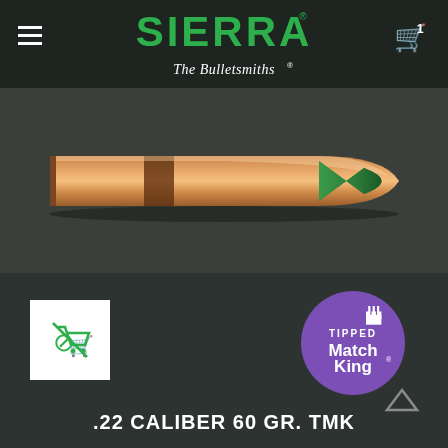[Figure (logo): Sierra Bullets logo with green text 'SIERRA' and italic white tagline 'The Bulletsmiths']
[Figure (photo): Sierra Bullets .22 caliber bullet/projectile with copper body and green polymer tip, horizontal orientation on dark background]
[Figure (logo): Purple circular Tipped MatchKing badge with white text 'TIPPED MatchKing' and castle icon]
[Figure (illustration): White square box with green shopping cart with slash icon (compare/wishlist icon)]
.22 CALIBER 60 GR. TMK